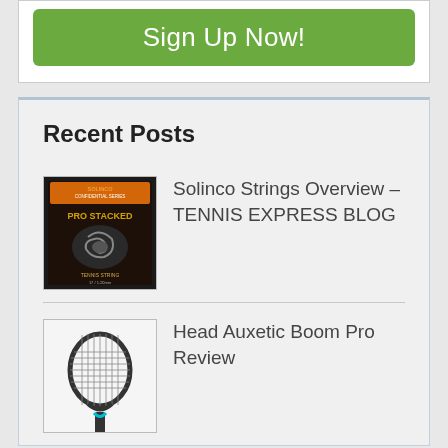[Figure (screenshot): Green 'Sign Up Now!' button on white card background]
Recent Posts
[Figure (photo): Solinco Pro Stacked tennis strings product packaging thumbnail]
Solinco Strings Overview – TENNIS EXPRESS BLOG
[Figure (photo): Head Auxetic Boom Pro tennis racket illustration thumbnail]
Head Auxetic Boom Pro Review